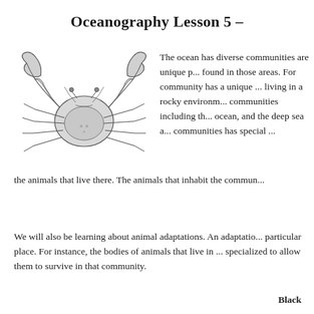Oceanography Lesson 5  -
[Figure (illustration): Black and white line drawing of a crab viewed from above, showing claws, legs, and shell detail.]
The ocean has diverse co... communities are unique p... found in those areas. For... community has a unique ... living in a rocky environm... communities including th... ocean, and the deep sea a... communities has special ... the animals that live there. The animals that inhabit the commun...
We will also be learning about animal adaptations. An adaptatio... particular place. For instance, the bodies of animals that live in ... specialized to allow them to survive in that community.
Black